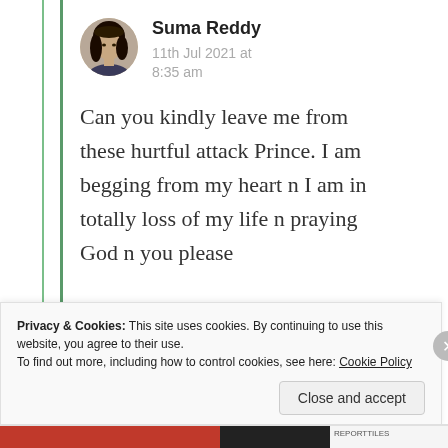[Figure (photo): Circular avatar photo of a young woman with long dark hair]
Suma Reddy
11th Jul 2021 at 8:35 am
Can you kindly leave me from these hurtful attack Prince. I am begging from my heart n I am in totally loss of my life n praying God n you please
Privacy & Cookies: This site uses cookies. By continuing to use this website, you agree to their use.
To find out more, including how to control cookies, see here: Cookie Policy
Close and accept